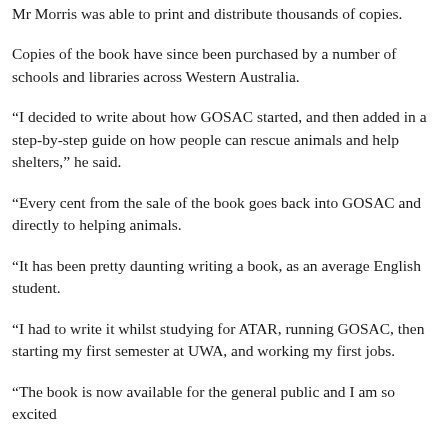Mr Morris was able to print and distribute thousands of copies.
Copies of the book have since been purchased by a number of schools and libraries across Western Australia.
“I decided to write about how GOSAC started, and then added in a step-by-step guide on how people can rescue animals and help shelters,” he said.
“Every cent from the sale of the book goes back into GOSAC and directly to helping animals.
“It has been pretty daunting writing a book, as an average English student.
“I had to write it whilst studying for ATAR, running GOSAC, then starting my first semester at UWA, and working my first jobs.
“The book is now available for the general public and I am so excited